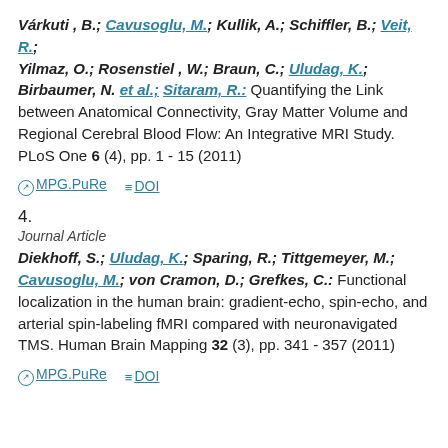Várkuti, B.; Cavusoglu, M.; Kullik, A.; Schiffler, B.; Veit, R.; Yilmaz, O.; Rosenstiel, W.; Braun, C.; Uludag, K.; Birbaumer, N. et al.; Sitaram, R.: Quantifying the Link between Anatomical Connectivity, Gray Matter Volume and Regional Cerebral Blood Flow: An Integrative MRI Study. PLoS One 6 (4), pp. 1 - 15 (2011)
MPG.PuRe   DOI
4.
Journal Article
Diekhoff, S.; Uludag, K.; Sparing, R.; Tittgemeyer, M.; Cavusoglu, M.; von Cramon, D.; Grefkes, C.: Functional localization in the human brain: gradient-echo, spin-echo, and arterial spin-labeling fMRI compared with neuronavigated TMS. Human Brain Mapping 32 (3), pp. 341 - 357 (2011)
MPG.PuRe   DOI